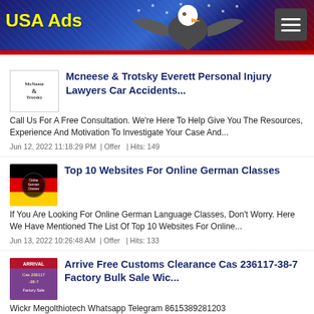USA Ads
Mcneese & Trotsky Everett Personal Injury Lawyers Car Accidents...
Call Us For A Free Consultation. We're Here To Help Give You The Resources, Experience And Motivation To Investigate Your Case And...
Jun 12, 2022 11:18:29 PM  |  Offer  |  Hits: 149
Top 10 Websites For Online German Classes
If You Are Looking For Online German Language Classes, Don't Worry. Here We Have Mentioned The List Of Top 10 Websites For Online...
Jun 13, 2022 10:26:48 AM  |  Offer  |  Hits: 133
Arrive Free Customs Clearance Cas 236117-38-7 Factory Bulk Sale Wic...
Wickr Megolthiotech Whatsapp Telegram 8615389281203